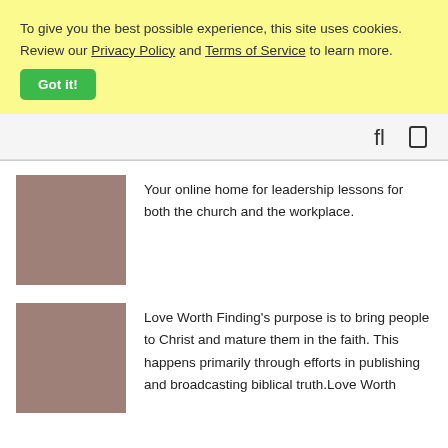To give you the best possible experience, this site uses cookies. Review our Privacy Policy and Terms of Service to learn more.
Got it!
[Figure (other): Navigation bar with search and menu icons]
[Figure (photo): Placeholder image (brownish/mauve rectangle) for leadership lessons]
Your online home for leadership lessons for both the church and the workplace.
[Figure (photo): Placeholder image (brownish/mauve rectangle) for Love Worth Finding]
Love Worth Finding's purpose is to bring people to Christ and mature them in the faith. This happens primarily through efforts in publishing and broadcasting biblical truth.Love Worth